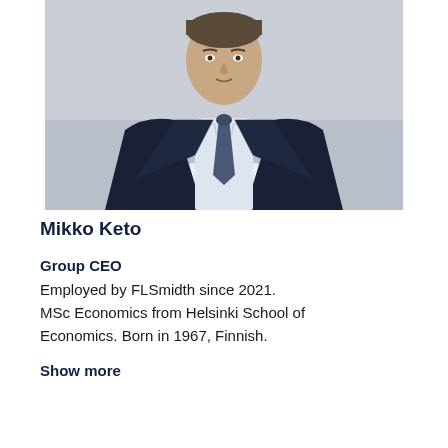[Figure (photo): Professional headshot of Mikko Keto, a man in a dark navy suit with a light blue shirt and dark tie, photographed against a light grey background, cropped to show head and upper torso.]
Mikko Keto
Group CEO
Employed by FLSmidth since 2021. MSc Economics from Helsinki School of Economics. Born in 1967, Finnish.
Show more